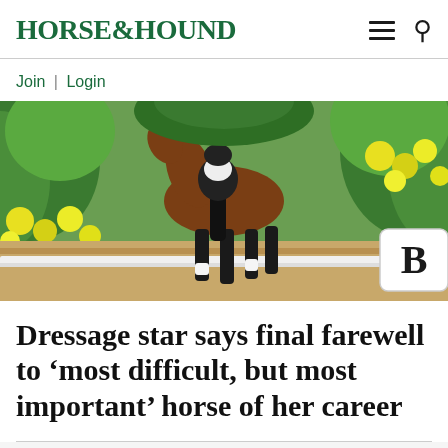HORSE&HOUND
Join | Login
[Figure (photo): Close-up of a horse's legs and hooves trotting in a dressage arena, surrounded by yellow flowers and green foliage, with a white arena barrier and letter 'B' marker visible]
Dressage star says final farewell to ‘most difficult, but most important’ horse of her career
Advertisement